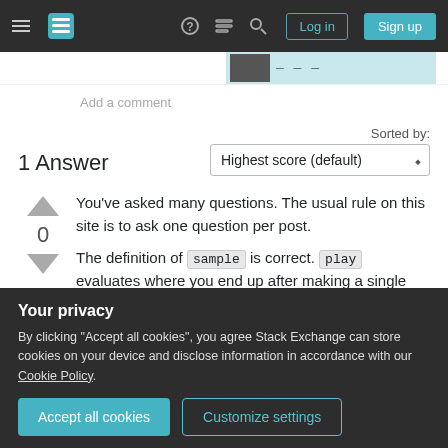Stack Exchange navigation bar with Log in and Sign up buttons
Add a comment
1 Answer
Sorted by:
Highest score (default)
You've asked many questions. The usual rule on this site is to ask one question per post.
The definition of sample is correct. play evaluates where you end up after making a single move.
Your privacy
By clicking "Accept all cookies", you agree Stack Exchange can store cookies on your device and disclose information in accordance with our Cookie Policy.
Accept all cookies
Customize settings
any other strategy; it's purely random) at each step.